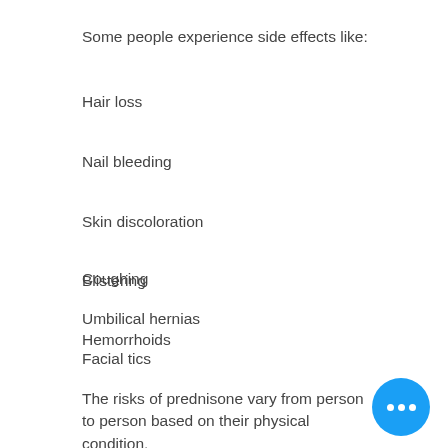Some people experience side effects like:
Hair loss
Nail bleeding
Skin discoloration
Blistering
Hemorrhoids
Coughing
Umbilical hernias
Facial tics
The risks of prednisone vary from person to person based on their physical condition.